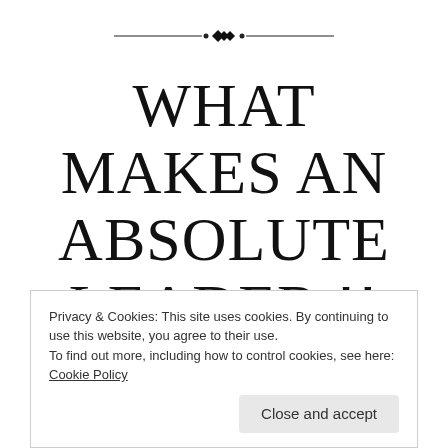[Figure (illustration): Decorative horizontal divider with a diamond-shaped ornament in the center and lines extending to both sides]
WHAT MAKES AN ABSOLUTE LEADER !!
Posted on December 7, 2013 under Goals, heart and mind, Inspirational and Motivational, journey of life, Leadership,
Privacy & Cookies: This site uses cookies. By continuing to use this website, you agree to their use. To find out more, including how to control cookies, see here: Cookie Policy
Close and accept